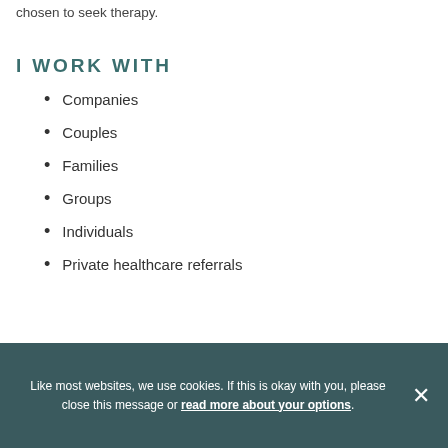chosen to seek therapy.
I WORK WITH
Companies
Couples
Families
Groups
Individuals
Private healthcare referrals
Like most websites, we use cookies. If this is okay with you, please close this message or read more about your options.